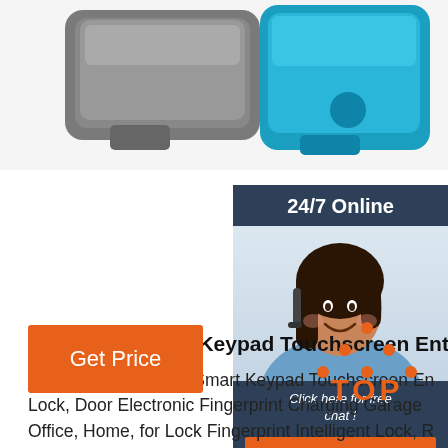[Figure (photo): Product photo showing gray and blue USB lock/keypad devices at top of page]
[Figure (photo): Customer service chat widget showing '24/7 Online' header, photo of smiling woman with headset, 'Click here for free chat!' text, and orange QUOTATION button]
USB Lock Smart Keypad Touchscreen Entry Keyles
buy brand USB Lock Smart Keypad Touchscreen En Lock, Door Electronic Fingerprint Charging Garage Office, Home, for Lock Fingerprint Intelligent Lock, R Automatic •Strong and Sturdy•-This fingerprint lock aluminum alloy, which is very durable and anti-theft
[Figure (other): Orange 'Get Price' button]
[Figure (logo): Orange 'TOP' text with dot triangle above it]